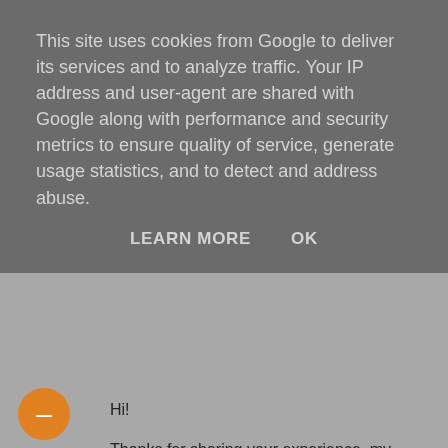This site uses cookies from Google to deliver its services and to analyze traffic. Your IP address and user-agent are shared with Google along with performance and security metrics to ensure quality of service, generate usage statistics, and to detect and address abuse.
LEARN MORE    OK
Hi!
Thanks for sharing your experience, my mother-in-law just invited my wife and me for dinner since I recovered four discs of her holiday movies :-)
I wrote a perl script to automate this process, it is available from the following URL:
http://www.tanzband-scream.at/copy_tracks.tar.bz2
It might need some tweaking, but works well for me.
Kind regards,